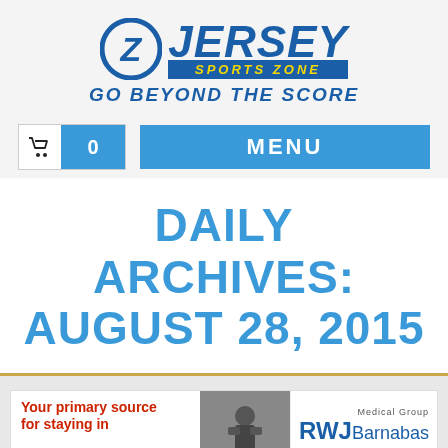[Figure (logo): Jersey Sports Zone logo with blue circle containing Z, JERSEY in large italic blue text, SPORTS ZONE in yellow on blue background, and GO BEYOND THE SCORE tagline in blue italic]
[Figure (infographic): Navigation bar with shopping cart widget showing cart icon and count of 0, and a blue MENU button]
DAILY ARCHIVES: AUGUST 28, 2015
[Figure (screenshot): Advertisement banner with red text 'Your primary source for staying in', sports photo, and RWJBarnabas Medical Group logo on right]